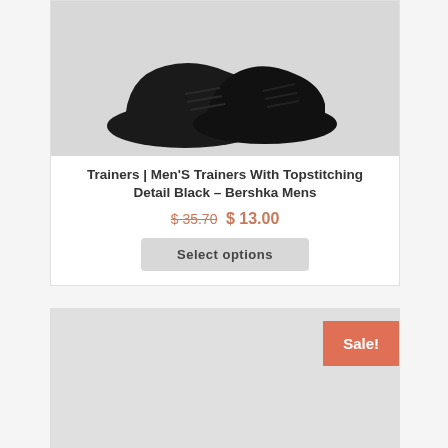[Figure (photo): Black sneakers/trainers on light grey background]
Trainers | Men’S Trainers With Topstitching Detail Black – Bershka Mens
$ 35.70 $ 13.00
Select options
[Figure (photo): Second product card with light grey image placeholder and Sale! badge]